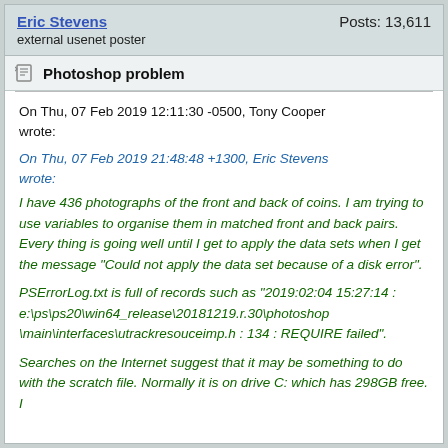Eric Stevens | Posts: 13,611
external usenet poster
Photoshop problem
On Thu, 07 Feb 2019 12:11:30 -0500, Tony Cooper wrote:
On Thu, 07 Feb 2019 21:48:48 +1300, Eric Stevens wrote:
I have 436 photographs of the front and back of coins. I am trying to use variables to organise them in matched front and back pairs. Every thing is going well until I get to apply the data sets when I get the message "Could not apply the data set because of a disk error".
PSErrorLog.txt is full of records such as "2019:02:04 15:27:14 : e:\ps\ps20\win64_release\20181219.r.30\photoshop\main\interfaces\utrackresouceimp.h : 134 : REQUIRE failed".
Searches on the Internet suggest that it may be something to do with the scratch file. Normally it is on drive C: which has 298GB free. I